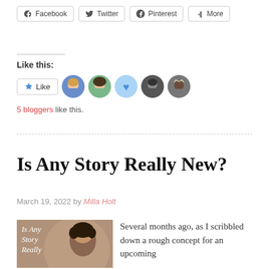[Figure (other): Social share buttons: Facebook, Twitter, Pinterest, More]
Like this:
[Figure (other): Like button with 5 blogger avatar thumbnails]
5 bloggers like this.
Is Any Story Really New?
March 19, 2022 by Milla Holt
[Figure (photo): Blog post thumbnail image with italic text overlay reading 'Is Any Story Really']
Several months ago, as I scribbled down a rough concept for an upcoming